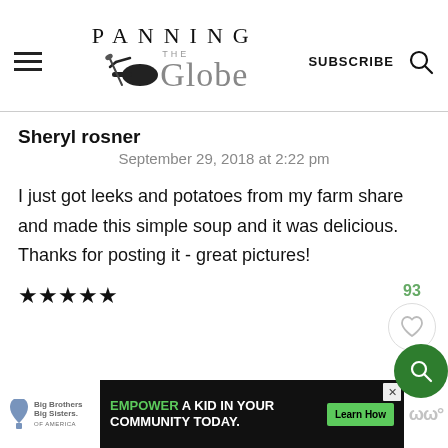PANNING THE Globe — SUBSCRIBE (search icon)
Sheryl rosner
September 29, 2018 at 2:22 pm
I just got leeks and potatoes from my farm share and made this simple soup and it was delicious. Thanks for posting it - great pictures!
★★★★★
REPLY
[Figure (other): Advertisement banner: Big Brothers Big Sisters logo, 'EMPOWER A KID IN YOUR COMMUNITY TODAY.' with Learn How button, and a media logo on right]